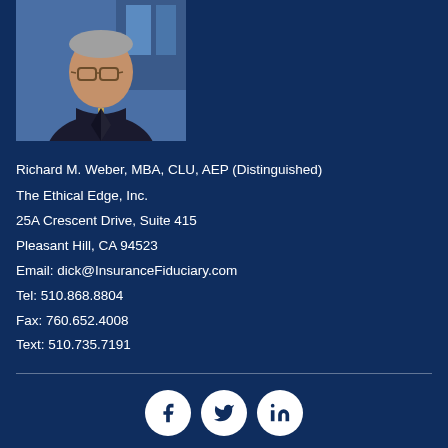[Figure (photo): Professional headshot of a middle-aged man wearing glasses, a dark suit and tie, against a blue background]
Richard M. Weber, MBA, CLU, AEP (Distinguished)
The Ethical Edge, Inc.
25A Crescent Drive, Suite 415
Pleasant Hill, CA 94523
Email: dick@InsuranceFiduciary.com
Tel: 510.868.8804
Fax: 760.652.4008
Text: 510.735.7191
[Figure (infographic): Social media icons: Facebook, Twitter, LinkedIn — white circles on dark blue background]